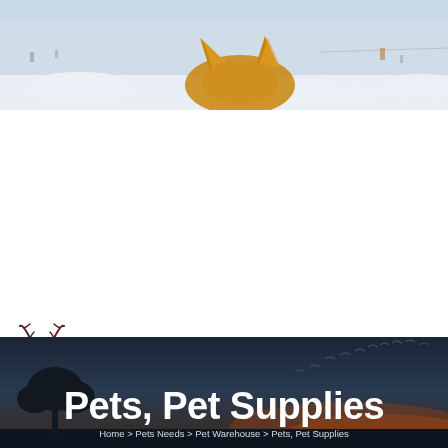[Figure (photo): A fox with large ears partially visible in a snowy landscape with trees and snow-covered ground in the background.]
[Figure (logo): Deer silhouette logo for jamaicaswampsafari.com with tagline 'A Safe haven for Pets']
[Figure (photo): Dark twilight landscape with silhouetted tree and birds flying in the background sky.]
Pets, Pet Supplies
Home > Pets Needs > Pet Warehouse > Pets, Pet Supplies